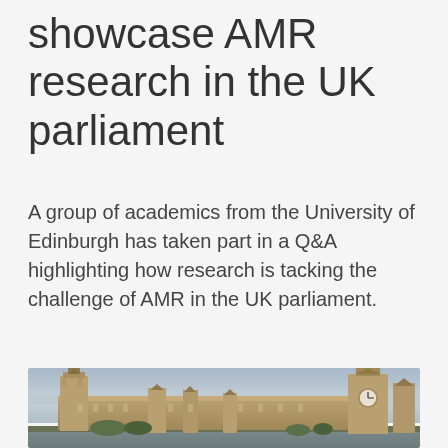showcase AMR research in the UK parliament
A group of academics from the University of Edinburgh has taken part in a Q&A highlighting how research is tacking the challenge of AMR in the UK parliament.
[Figure (photo): Aerial photograph of the UK Houses of Parliament (Palace of Westminster) and Big Ben along the River Thames in London, viewed from above at an angle, showing the Gothic architecture with towers and spires against a hazy city skyline.]